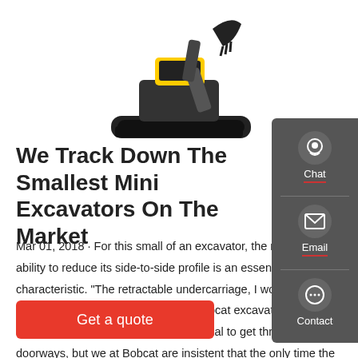[Figure (photo): Mini excavator (yellow and black) with bucket attachment, photographed from front-side angle on white background]
We Track Down The Smallest Mini Excavators On The Market
Mar 01, 2018 · For this small of an excavator, the machine's ability to reduce its side-to-side profile is an essential characteristic. "The retractable undercarriage, I would say, is a critical feature," says Tom Connor, Bobcat excavator product specialist. "The narrow width is essential to get through doorways, but we at Bobcat are insistent that the only time the undercarriage …
[Figure (infographic): Dark grey sidebar with Chat, Email, and Contact icons and labels]
Get a quote